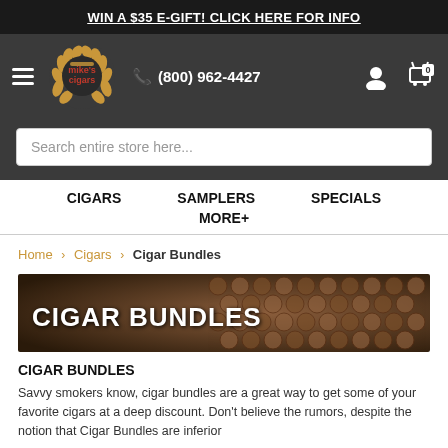WIN A $35 E-GIFT! CLICK HERE FOR INFO
[Figure (logo): Mike's Cigars logo with golden laurel wreath]
(800) 962-4427
Search entire store here...
CIGARS   SAMPLERS   SPECIALS   MORE+
Home > Cigars > Cigar Bundles
[Figure (photo): Hero banner showing bundled cigars with text CIGAR BUNDLES]
CIGAR BUNDLES
Savvy smokers know, cigar bundles are a great way to get some of your favorite cigars at a deep discount. Don't believe the rumors, despite the notion that Cigar Bundles are inferior